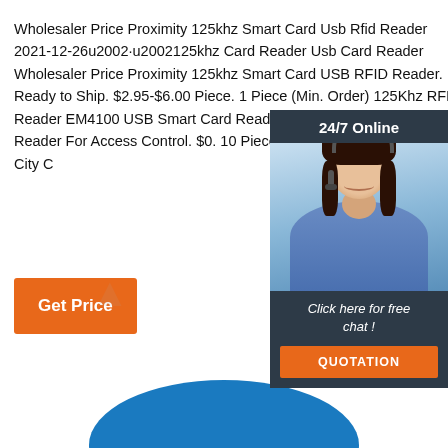Wholesaler Price Proximity 125khz Smart Card Usb Rfid Reader 2021-12-26u2002·u2002125khz Card Reader Usb Card Reader Wholesaler Price Proximity 125khz Smart Card USB RFID Reader. Ready to Ship. $2.95-$6.00 Piece. 1 Piece (Min. Order) 125Khz RFID Reader EM4100 USB Smart Card Reader Plug Play TK4100 EM ID Reader For Access Control. $0. 10 Pieces (Min. Order) CN Shenzhen City C
[Figure (photo): Customer service representative with headset, 24/7 Online chat widget with orange QUOTATION button]
[Figure (other): Orange TOP button with dots above it]
[Figure (other): Blue arc/disc shape at bottom of page, partial view]
Get Price